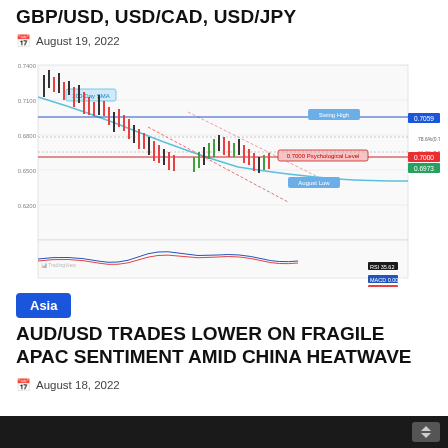GBP/USD, USD/CAD, USD/JPY
August 19, 2022
[Figure (continuous-plot): Candlestick chart showing GBP/USD price action with technical indicators including 200-Day SMA, horizontal support/resistance levels, Swing High and August Low annotations, 0.7000 Psychological Level marked in red, Fibonacci retracement levels, and a MACD oscillator panel at the bottom. Chart covers approximately Jan to Dec timeframe on TradingView platform.]
Asia
AUD/USD TRADES LOWER ON FRAGILE APAC SENTIMENT AMID CHINA HEATWAVE
August 18, 2022